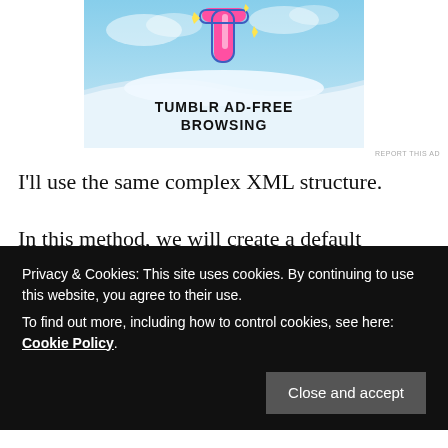[Figure (illustration): Tumblr ad banner with pink/white 't' logo, sparkles, sky background, and bold text reading 'TUMBLR AD-FREE BROWSING']
REPORT THIS AD
I'll use the same complex XML structure.
In this method, we will create a default constructor as well as a parametrized Constructor to pass the arguments for each POJO Class.
Privacy & Cookies: This site uses cookies. By continuing to use this website, you agree to their use.
To find out more, including how to control cookies, see here: Cookie Policy
Close and accept